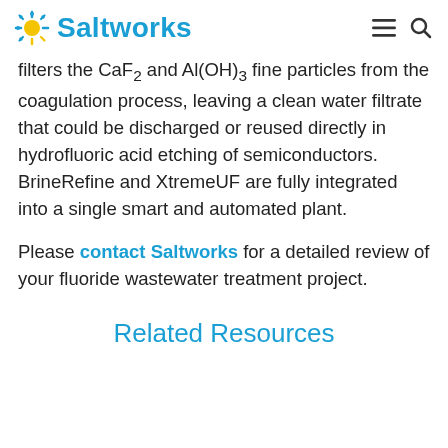Saltworks
filters the CaF2 and Al(OH)3 fine particles from the coagulation process, leaving a clean water filtrate that could be discharged or reused directly in hydrofluoric acid etching of semiconductors. BrineRefine and XtremeUF are fully integrated into a single smart and automated plant.
Please contact Saltworks for a detailed review of your fluoride wastewater treatment project.
Related Resources